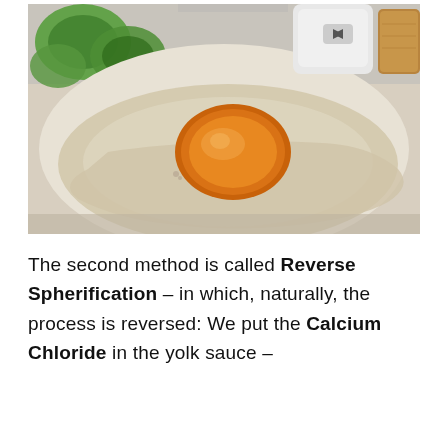[Figure (photo): A fried egg resting on a white plate, with a bright orange-yellow yolk dome in the center surrounded by cooked egg white. In the background: sliced green bell peppers, a white kitchen appliance (possibly a rice cooker or blender), and a piece of toast. The image appears to depict a spherification-made 'molecular gastronomy' egg, as part of an article about Reverse Spherification.]
The second method is called Reverse Spherification – in which, naturally, the process is reversed: We put the Calcium Chloride in the yolk sauce –